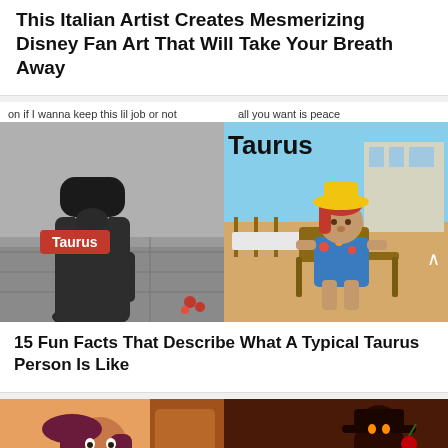This Italian Artist Creates Mesmerizing Disney Fan Art That Will Take Your Breath Away
on if I wanna keep this lil job or not
all you want is peace
[Figure (photo): Left: man in dark robes standing outside on pavement with a red 'Taurus' label overlay. Right: animated puppet/doll figure in colorful outfit sitting on beach chair on sand, with 'Taurus' text overlay. Arrow up icon visible on right image.]
15 Fun Facts That Describe What A Typical Taurus Person Is Like
[Figure (illustration): Left: illustrated woman with long reddish-purple hair in orange/warm toned setting. Right: illustrated dark stylized figure holding a cherry in a red candlelit scene.]